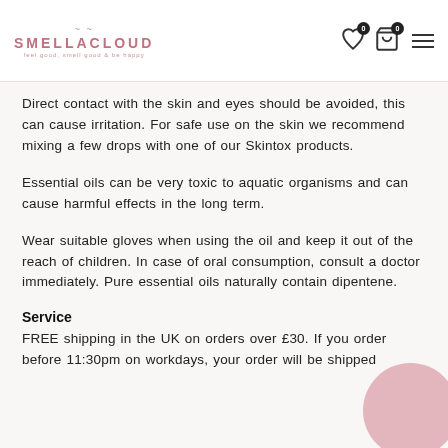SMELLACLOUD — feel good, smell good & be happy
Direct contact with the skin and eyes should be avoided, this can cause irritation. For safe use on the skin we recommend mixing a few drops with one of our Skintox products.
Essential oils can be very toxic to aquatic organisms and can cause harmful effects in the long term.
Wear suitable gloves when using the oil and keep it out of the reach of children. In case of oral consumption, consult a doctor immediately. Pure essential oils naturally contain dipentene.
Service
FREE shipping in the UK on orders over £30. If you order before 11:30pm on workdays, your order will be shipped